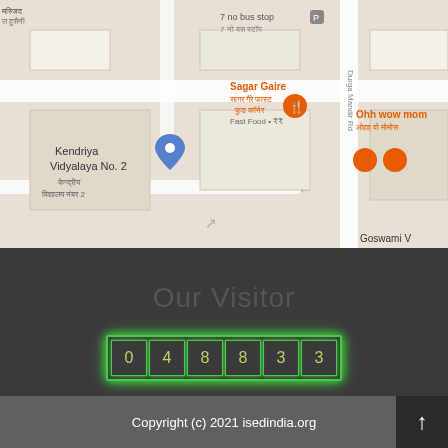[Figure (map): Google Maps screenshot showing area around Kendriya Vidyalaya No. 2, Sagar Gaire Fast Food restaurant, Ohh wow mom restaurant, Goswami, Durga Mandir Rd, 7 no bus stop]
Our Visitor
048833
Copyright (c) 2021 isedindia.org